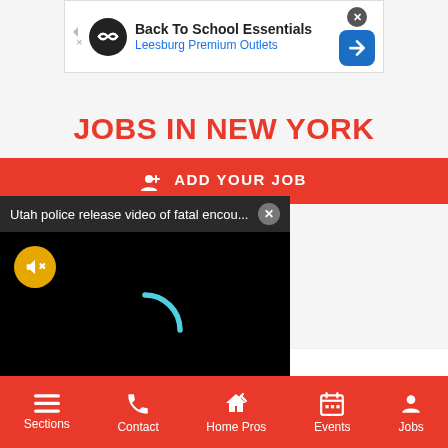[Figure (screenshot): Ad banner for 'Back To School Essentials - Leesburg Premium Outlets' with logo, close button, and navigation arrow]
JOBS IN NEW YORK
ADD YOUR JOB
[Figure (screenshot): Video popup overlay showing 'Utah police release video of fatal encou...' with a black background, mute button, and loading spinner]
Part Time - TICKET SALES ASSOCIATE
Sections   Contact   Home Pros   Events   Jobs